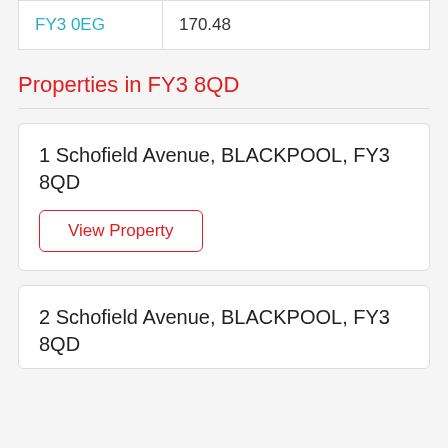| FY3 0EG | 170.48 |
Properties in FY3 8QD
1 Schofield Avenue, BLACKPOOL, FY3 8QD
View Property
2 Schofield Avenue, BLACKPOOL, FY3 8QD